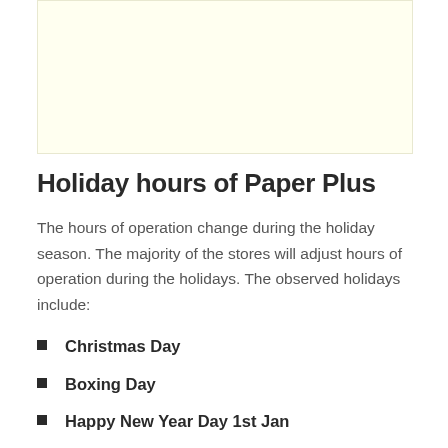[Figure (other): Yellow/cream colored advertisement or image placeholder box]
Holiday hours of Paper Plus
The hours of operation change during the holiday season. The majority of the stores will adjust hours of operation during the holidays. The observed holidays include:
Christmas Day
Boxing Day
Happy New Year Day 1st Jan